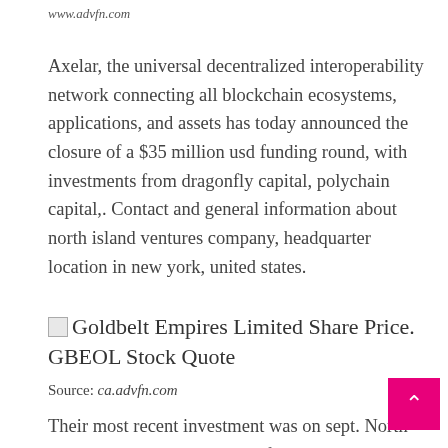www.advfn.com
Axelar, the universal decentralized interoperability network connecting all blockchain ecosystems, applications, and assets has today announced the closure of a $35 million usd funding round, with investments from dragonfly capital, polychain capital,. Contact and general information about north island ventures company, headquarter location in new york, united states.
Goldbelt Empires Limited Share Price. GBEOL Stock Quote
Source: ca.advfn.com
Their most recent investment was on sept. North island ventures is based out of new york.